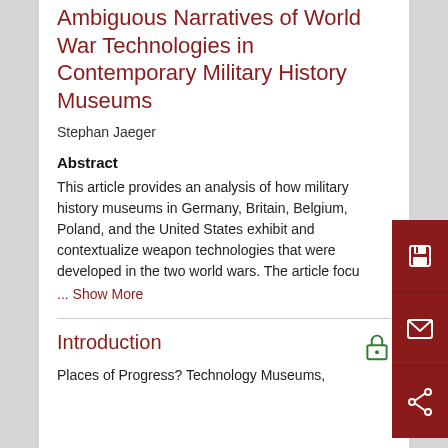Ambiguous Narratives of World War Technologies in Contemporary Military History Museums
Stephan Jaeger
Abstract
This article provides an analysis of how military history museums in Germany, Britain, Belgium, Poland, and the United States exhibit and contextualize weapon technologies that were developed in the two world wars. The article focu
... Show More
Introduction
Places of Progress? Technology Museums,